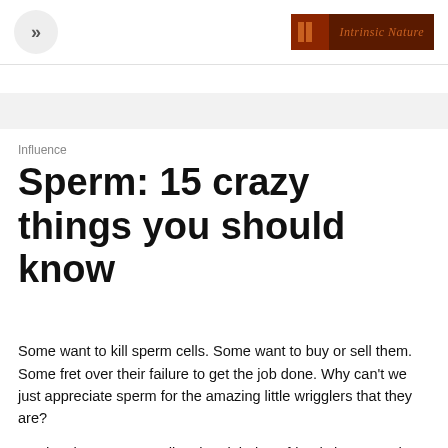>> | Intrinsic Nature
Influence
Sperm: 15 crazy things you should know
Some want to kill sperm cells. Some want to buy or sell them. Some fret over their failure to get the job done. Why can't we just appreciate sperm for the amazing little wrigglers that they are?
My daughter was spending the night by a friends house and